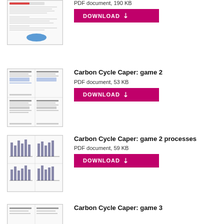[Figure (screenshot): Thumbnail of Carbon Cycle Caper game 1 PDF document]
PDF document, 190 KB
DOWNLOAD
Carbon Cycle Caper: game 2
[Figure (screenshot): Thumbnail of Carbon Cycle Caper game 2 PDF document]
PDF document, 53 KB
DOWNLOAD
Carbon Cycle Caper: game 2 processes
[Figure (screenshot): Thumbnail of Carbon Cycle Caper game 2 processes PDF document]
PDF document, 59 KB
DOWNLOAD
Carbon Cycle Caper: game 3
[Figure (screenshot): Thumbnail of Carbon Cycle Caper game 3 PDF document]